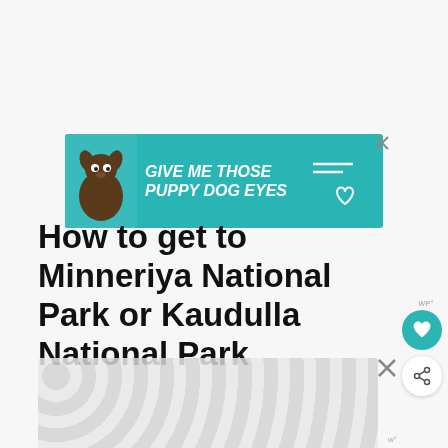[Figure (advertisement): Teal/turquoise banner ad showing a dog with text 'GIVE ME THOSE PUPPY DOG EYES' with a heart icon and decorative lines, with a close X button in the top right corner]
[Figure (other): Circular teal save/bookmark button with heart icon and 'WP°' label above it, and a circular white share button below it]
How to get to Minneriya National Park or Kaudulla National Park
[Figure (advertisement): Bottom banner ad with grey polka dot / bubble pattern overlay, with a close X button and 'w°' watermark label]